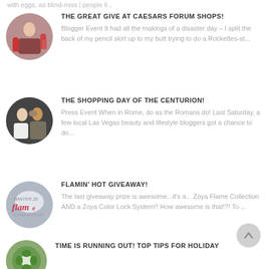with eggs, as blind-miss | people li...
[Figure (photo): Circular thumbnail photo of a person shopping with bags]
THE GREAT GIVE AT CAESARS FORUM SHOPS!
Blogger Event It had all the makings of a disaster day – I split the back of my pencil skirt up to my butt trying to do a Rockettes-st...
[Figure (photo): Circular thumbnail photo of two people posing together]
THE SHOPPING DAY OF THE CENTURION!
Press Event When in Rome, do as the Romans do! Last Saturday, a few local Las Vegas beauty and lifestyle bloggers got a chance to do...
[Figure (photo): Circular thumbnail with Zoya Flame product logo]
FLAMIN' HOT GIVEAWAY!
The last giveaway prize is awesome...it's a... Zoya Flame Collection AND a Zoya Color Lock System!! How awesome is that!?! To ...
[Figure (photo): Circular thumbnail with green holiday wreath imagery]
TIME IS RUNNING OUT! TOP TIPS FOR HOLIDAY